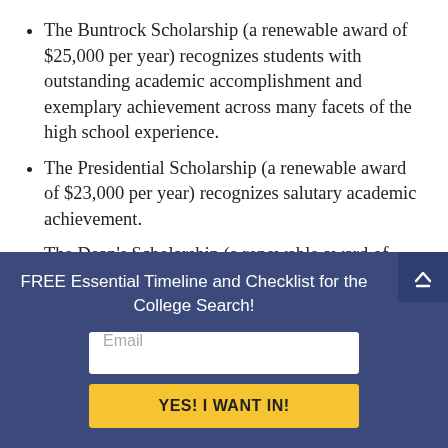The Buntrock Scholarship (a renewable award of $25,000 per year) recognizes students with outstanding academic accomplishment and exemplary achievement across many facets of the high school experience.
The Presidential Scholarship (a renewable award of $23,000 per year) recognizes salutary academic achievement.
The Dean's Scholarship (a renewable award of $21,000 per year) recognizes a strong and
FREE Essential Timeline and Checklist for the College Search!
Email
YES! I WANT IN!